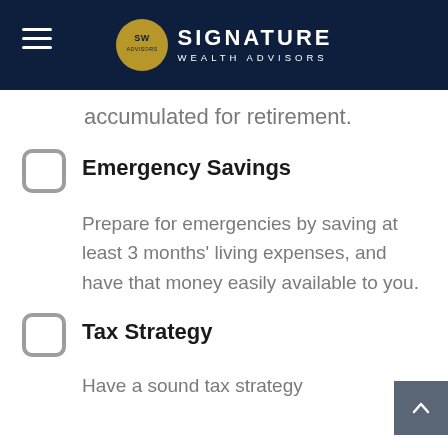Signature Wealth Advisors
accumulated for retirement.
Emergency Savings
Prepare for emergencies by saving at least 3 months' living expenses, and have that money easily available to you.
Tax Strategy
Have a sound tax strategy